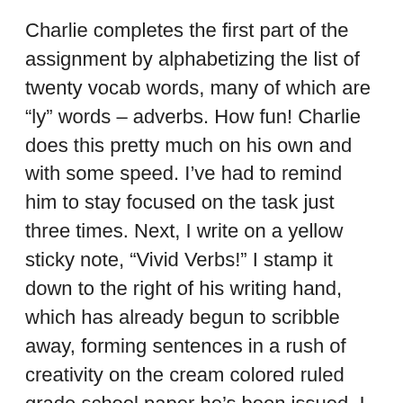Charlie completes the first part of the assignment by alphabetizing the list of twenty vocab words, many of which are “ly” words – adverbs. How fun! Charlie does this pretty much on his own and with some speed. I’ve had to remind him to stay focused on the task just three times. Next, I write on a yellow sticky note, “Vivid Verbs!” I stamp it down to the right of his writing hand, which has already begun to scribble away, forming sentences in a rush of creativity on the cream colored ruled grade school paper he’s been issued. I emphasize the point by saying, “Don’t forget to use vivid verbs, Charlie.” Then ask, “Did you talk about vivid verbs in class?”
“Hmmm….” comes his vague reply. He’s writing fast. I can already see that letters are not clearly defined as they’re being scratched rather haphazardly just above the bottom